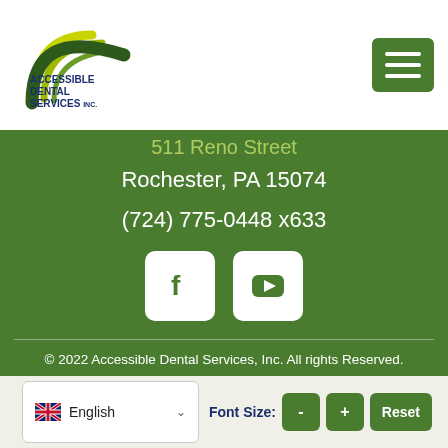[Figure (logo): Accessible Dental Services Inc. logo with green arc design and dark blue text]
511 Reno Street
Rochester, PA 15074
(724) 775-0448 x633
[Figure (infographic): Facebook and YouTube social media icon buttons in white rounded squares on green background]
© 2022 Accessible Dental Services, Inc. All rights Reserved.
PRIVACY | ACCESSIBILITY | COMPLIANCE
Close
English
Font Size: - + Reset